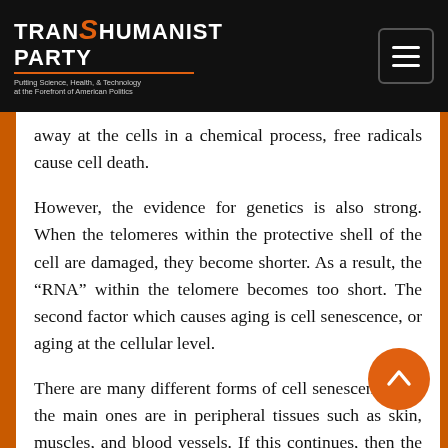TRANSHUMANIST PARTY — Putting Science, Health, & Technology at the Forefront of American Politics
away at the cells in a chemical process, free radicals cause cell death.
However, the evidence for genetics is also strong. When the telomeres within the protective shell of the cell are damaged, they become shorter. As a result, the “RNA” within the telomere becomes too short. The second factor which causes aging is cell senescence, or aging at the cellular level.
There are many different forms of cell senescence, but the main ones are in peripheral tissues such as skin, muscles, and blood vessels. If this continues, then the total number of cells may start to decline. The decline